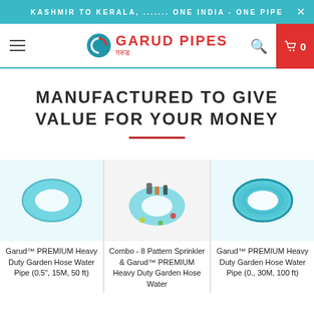KASHMIR TO KERALA, ....... ONE INDIA - ONE PIPE
[Figure (logo): Garud Pipes logo with teal circular icon and red text 'GARUD PIPES' and Hindi text 'गरुड']
MANUFACTURED TO GIVE VALUE FOR YOUR MONEY
[Figure (photo): Garud PREMIUM Heavy Duty Garden Hose Water Pipe (0.5", 15M, 50 ft) - teal colored pipe coil]
Garud™ PREMIUM Heavy Duty Garden Hose Water Pipe (0.5", 15M, 50 ft)
[Figure (photo): Combo - 8 Pattern Sprinkler & Garud™ PREMIUM Heavy Duty Garden Hose Water - blurred product image]
Combo - 8 Pattern Sprinkler & Garud™ PREMIUM Heavy Duty Garden Hose Water
[Figure (photo): Garud PREMIUM Heavy Duty Garden Hose Water Pipe (0., 30M, 100 ft) - teal pipe coil]
Garud™ PREMIUM Heavy Duty Garden Hose Water Pipe (0., 30M, 100 ft)